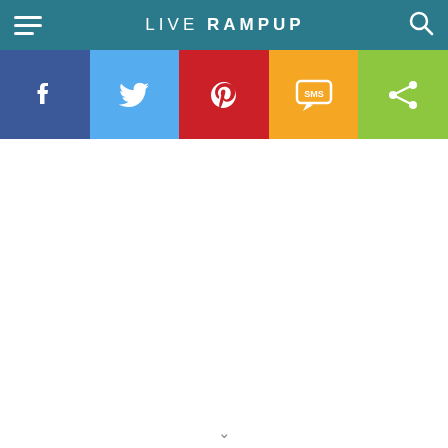LIVE RAMPUP
[Figure (infographic): Social share bar with five buttons: Facebook (blue), Twitter (light blue), Pinterest (red), SMS (yellow/orange), Share (green)]